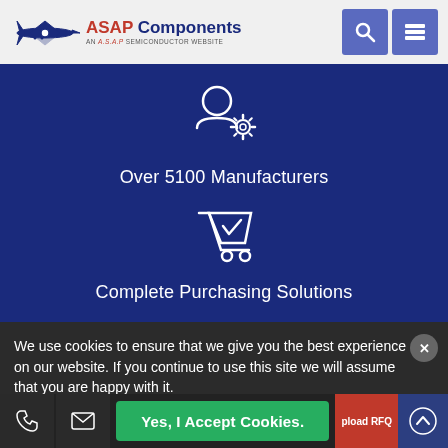[Figure (logo): ASAP Components logo with airplane icon and tagline 'AN A.S.A.P SEMICONDUCTOR WEBSITE']
[Figure (infographic): Dark blue panel with two sections: a person with gear icon labeled 'Over 5100 Manufacturers' and a shopping cart with checkmark icon labeled 'Complete Purchasing Solutions']
We use cookies to ensure that we give you the best experience on our website. If you continue to use this site we will assume that you are happy with it.
[Figure (infographic): Bottom bar with phone icon, email icon, 'Yes, I Accept Cookies.' green button, 'Upload RFQ' red button, and up-arrow scroll button]